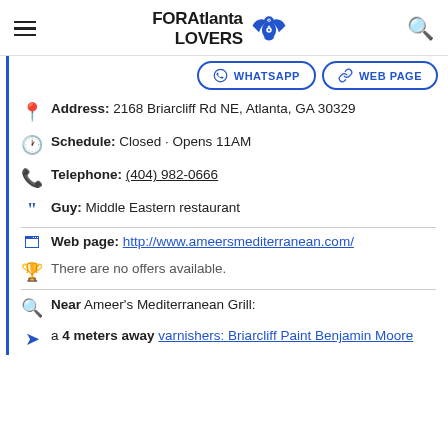FOR Atlanta LOVERS
WHATSAPP
WEB PAGE
Address: 2168 Briarcliff Rd NE, Atlanta, GA 30329
Schedule: Closed · Opens 11AM
Telephone: (404) 982-0666
Guy: Middle Eastern restaurant
Web page: http://www.ameersmediterranean.com/
There are no offers available.
Near Ameer's Mediterranean Grill:
a 4 meters away varnishers: Briarcliff Paint Benjamin Moore